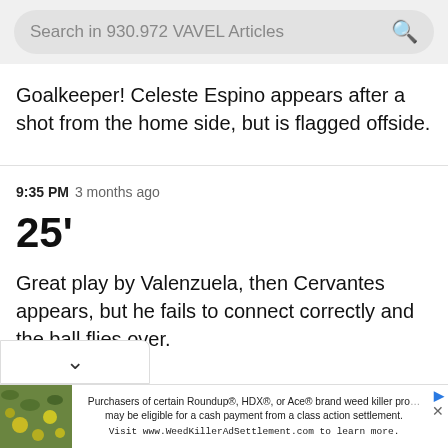Search in 930.972 VAVEL Articles
Goalkeeper! Celeste Espino appears after a shot from the home side, but is flagged offside.
9:35 PM  3 months ago
25'
Great play by Valenzuela, then Cervantes appears, but he fails to connect correctly and the ball flies over.
Purchasers of certain Roundup®, HDX®, or Ace® brand weed killer products may be eligible for a cash payment from a class action settlement. Visit www.WeedKillerAdSettlement.com to learn more.